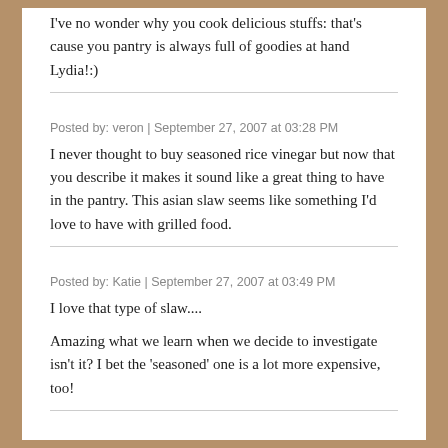I've no wonder why you cook delicious stuffs: that's cause you pantry is always full of goodies at hand Lydia!:)
Posted by: veron | September 27, 2007 at 03:28 PM
I never thought to buy seasoned rice vinegar but now that you describe it makes it sound like a great thing to have in the pantry. This asian slaw seems like something I'd love to have with grilled food.
Posted by: Katie | September 27, 2007 at 03:49 PM
I love that type of slaw....
Amazing what we learn when we decide to investigate isn't it? I bet the 'seasoned' one is a lot more expensive, too!